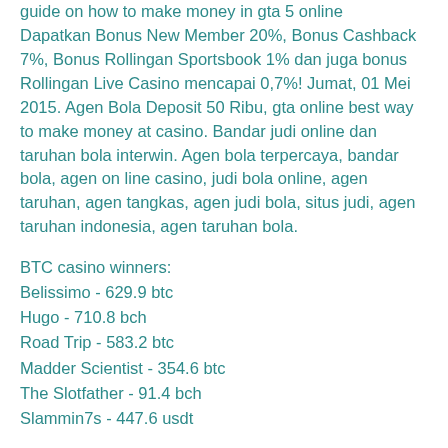guide on how to make money in gta 5 online
Dapatkan Bonus New Member 20%, Bonus Cashback 7%, Bonus Rollingan Sportsbook 1% dan juga bonus Rollingan Live Casino mencapai 0,7%! Jumat, 01 Mei 2015. Agen Bola Deposit 50 Ribu, gta online best way to make money at casino. Bandar judi online dan taruhan bola interwin. Agen bola terpercaya, bandar bola, agen on line casino, judi bola online, agen taruhan, agen tangkas, agen judi bola, situs judi, agen taruhan indonesia, agen taruhan bola.
BTC casino winners:
Belissimo - 629.9 btc
Hugo - 710.8 bch
Road Trip - 583.2 btc
Madder Scientist - 354.6 btc
The Slotfather - 91.4 bch
Slammin7s - 447.6 usdt